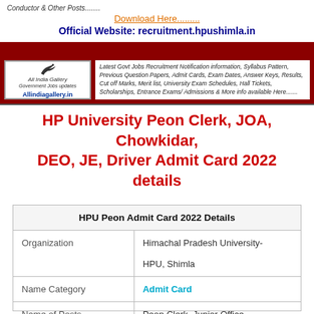[Figure (infographic): Website banner with AllIndiaGallery logo, 'Download Here' link, Official Website text, and description of services offered]
HP University Peon Clerk, JOA, Chowkidar, DEO, JE, Driver Admit Card 2022 details
| HPU Peon Admit Card 2022 Details |  |
| --- | --- |
| Organization | Himachal Pradesh University- HPU, Shimla |
| Name Category | Admit Card |
| Name of Posts | Peon Clerk, Junior Office |